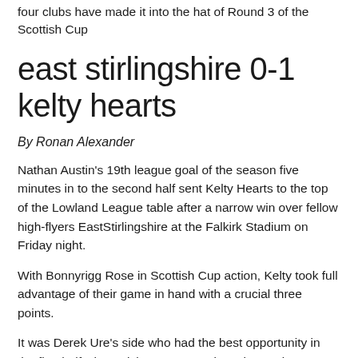four clubs have made it into the hat of Round 3 of the Scottish Cup
east stirlingshire 0-1 kelty hearts
By Ronan Alexander
Nathan Austin's 19th league goal of the season five minutes in to the second half sent Kelty Hearts to the top of the Lowland League table after a narrow win over fellow high-flyers EastStirlingshire at the Falkirk Stadium on Friday night.
With Bonnyrigg Rose in Scottish Cup action, Kelty took full advantage of their game in hand with a crucial three points.
It was Derek Ure's side who had the best opportunity in the first half when Nicky Low went close three minutes before